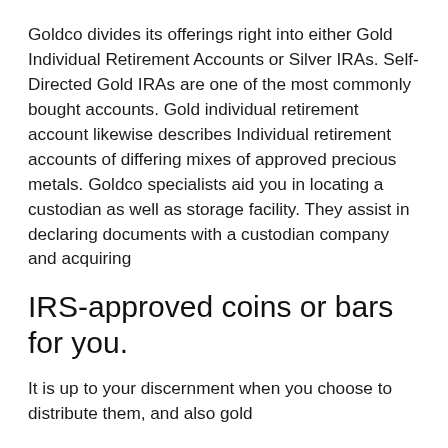Goldco divides its offerings right into either Gold Individual Retirement Accounts or Silver IRAs. Self-Directed Gold IRAs are one of the most commonly bought accounts. Gold individual retirement account likewise describes Individual retirement accounts of differing mixes of approved precious metals. Goldco specialists aid you in locating a custodian as well as storage facility. They assist in declaring documents with a custodian company and acquiring
IRS-approved coins or bars for you.
It is up to your discernment when you choose to distribute them, and also gold